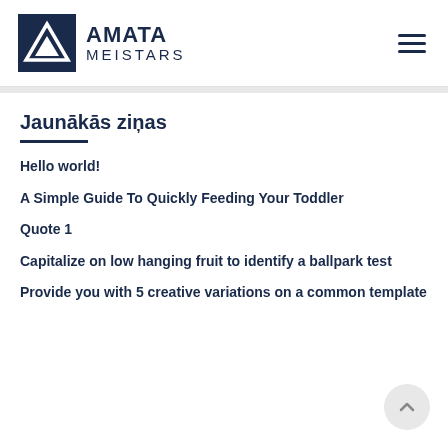AMATA MEISTARS
Jaunākās ziņas
Hello world!
A Simple Guide To Quickly Feeding Your Toddler
Quote 1
Capitalize on low hanging fruit to identify a ballpark test
Provide you with 5 creative variations on a common template